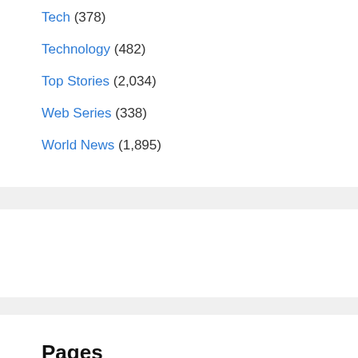Tech (378)
Technology (482)
Top Stories (2,034)
Web Series (338)
World News (1,895)
Pages